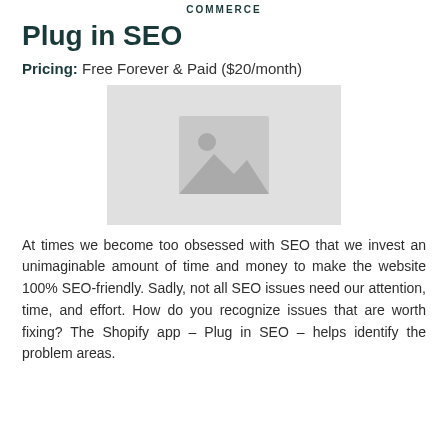COMMERCE
Plug in SEO
Pricing: Free Forever & Paid ($20/month)
[Figure (illustration): Placeholder image with grey background and landscape/image icon in the center]
At times we become too obsessed with SEO that we invest an unimaginable amount of time and money to make the website 100% SEO-friendly. Sadly, not all SEO issues need our attention, time, and effort. How do you recognize issues that are worth fixing? The Shopify app – Plug in SEO – helps identify the problem areas.